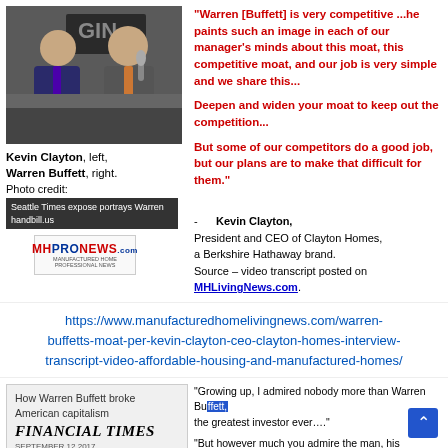[Figure (photo): Kevin Clayton (left) and Warren Buffett (right) standing together at an event, speaking into a microphone]
Kevin Clayton, left, Warren Buffett, right.
Photo credit:
Seattle Times expose portrays Warren
handbill.us
[Figure (logo): MHProNews logo]
"Warren [Buffett] is very competitive ...he paints such an image in each of our manager's minds about this moat, this competitive moat, and our job is very simple and we share this...

Deepen and widen your moat to keep out the competition...

But some of our competitors do a good job, but our plans are to make that difficult for them."

- Kevin Clayton,
President and CEO of Clayton Homes, a Berkshire Hathaway brand.
Source – video transcript posted on MHLivingNews.com.
https://www.manufacturedhomelivingnews.com/warren-buffetts-moat-per-kevin-clayton-ceo-clayton-homes-interview-transcript-video-affordable-housing-and-manufactured-homes/
[Figure (screenshot): Financial Times article: How Warren Buffett broke American capitalism - September 12 2017]
"Growing up, I admired nobody more than Warren Buffett, the greatest investor ever...."

"But however much you admire the man, his influence has a dark side because the beating heart of Buffettism, celebrated